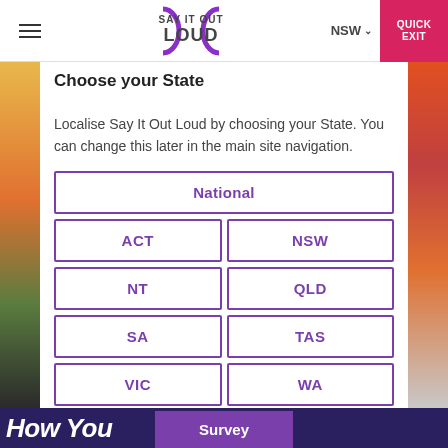Say It Out Loud — NSW — QUICK EXIT
Choose your State
Localise Say It Out Loud by choosing your State. You can change this later in the main site navigation.
| National |
| ACT | NSW |
| NT | QLD |
| SA | TAS |
| VIC | WA |
Survey
How You...ip